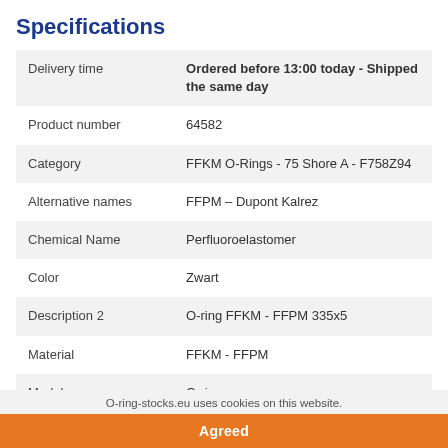Specifications
|  |  |
| --- | --- |
| Delivery time | Ordered before 13:00 today - Shipped the same day |
| Product number | 64582 |
| Category | FFKM O-Rings - 75 Shore A - F758Z94 |
| Alternative names | FFPM – Dupont Kalrez |
| Chemical Name | Perfluoroelastomer |
| Color | Zwart |
| Description 2 | O-ring FFKM - FFPM 335x5 |
| Material | FFKM - FFPM |
| Model | O-ring |
O-ring-stocks.eu uses cookies on this website.
Agreed